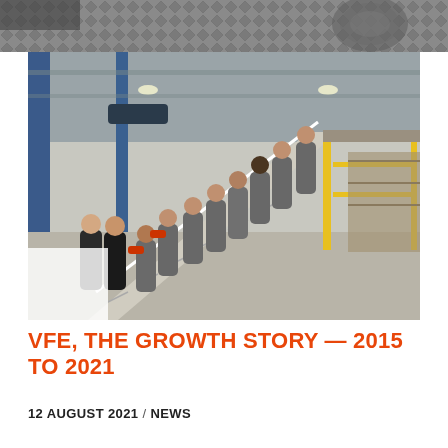[Figure (photo): Decorative metal panel / industrial texture strip at top of page]
[Figure (photo): Group of approximately 12 workers in grey and red uniforms posed on a metal staircase inside an industrial warehouse/factory building with blue steel framework, yellow safety railings, and racking in background. A date overlay badge shows '12 AUG' in the bottom-left corner of the photo.]
VFE, THE GROWTH STORY — 2015 TO 2021
12 AUGUST 2021 / NEWS